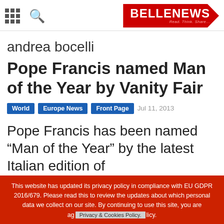BELLENEWS Read. Think. Share...
andrea bocelli
Pope Francis named Man of the Year by Vanity Fair
World  Europe News  Front Page  Jul 11, 2013
Pope Francis has been named “Man of the Year” by the latest Italian edition of
This website has updated its privacy policy in compliance with EU GDPR 2016/679. Please read this to review the updates about which personal data we collect on our site. By continuing to use this site, you are ag Privacy & Cookies Policy.